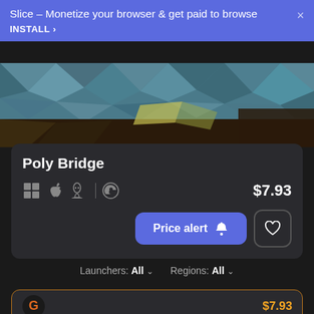Slice – Monetize your browser & get paid to browse INSTALL >
[Figure (screenshot): Low-poly geometric game scene thumbnail for Poly Bridge]
Poly Bridge
$7.93
Price alert 🔔
Launchers: All   Regions: All
$7.93